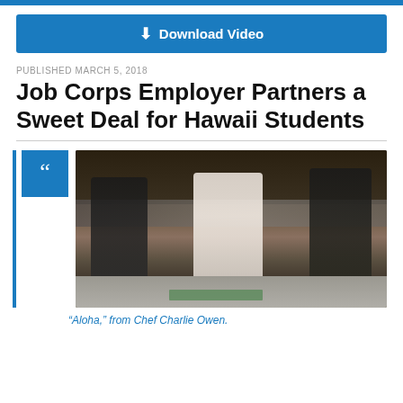Download Video
PUBLISHED MARCH 5, 2018
Job Corps Employer Partners a Sweet Deal for Hawaii Students
[Figure (photo): Chef and workers in a commercial kitchen, with stainless steel equipment and prep surfaces visible.]
“Aloha,” from Chef Charlie Owen.